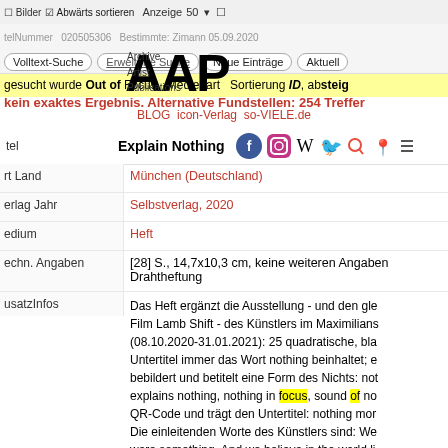Bilder | Abwärts sortieren | Anzeige 50
telNummer | 020505306 | Bestimmte: Zimann 05.09.2020
Volltext-Suche | Erweiterte Suche | Neue Einträge | Aktuell
gesucht wurde Out of Focus Medienart Sortierung ID, absteigend
kein exaktes Ergebnis. Alternative Fundstellen: 254 Treffer
BLOG icon-Verlag so-VIELE.de
[Figure (logo): AAP Archive Artist Publications logo with social media icons (Facebook, Instagram, Wikipedia, Twitter, Search, Maps) and hamburger menu]
| Feld | Wert |
| --- | --- |
| Titel | Explain Nothing |
| Ort Land | München (Deutschland) |
| Verlag Jahr | Selbstverlag, 2020 |
| Medium | Heft |
| Techn. Angaben | [28] S., 14,7x10,3 cm, keine weiteren Angaben Drahtheftung |
| ZusatzInfos | Das Heft ergänzt die Ausstellung - und den gleichen Film Lamb Shift - des Künstlers im Maximilians (08.10.2020-31.01.2021): 25 quadratische, bla Untertitel immer das Wort nothing beinhaltet; e bebildert und betitelt eine Form des Nichts: not explains nothing, nothing in focus, sound of no QR-Code und trägt den Untertitel: nothing mor Die einleitenden Worte des Künstlers sind: We were something. And we believe in the world li |
| Sprache | Englisch |